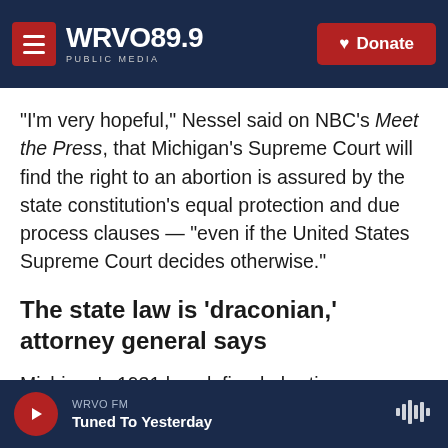WRVO PUBLIC MEDIA 89.9 | Donate
"I'm very hopeful," Nessel said on NBC's Meet the Press, that Michigan's Supreme Court will find the right to an abortion is assured by the state constitution's equal protection and due process clauses — "even if the United States Supreme Court decides otherwise."
The state law is 'draconian,' attorney general says
Michigan's 1931 law defined abortion as a felony. It came under attack by its own government last
WRVO FM | Tuned To Yesterday